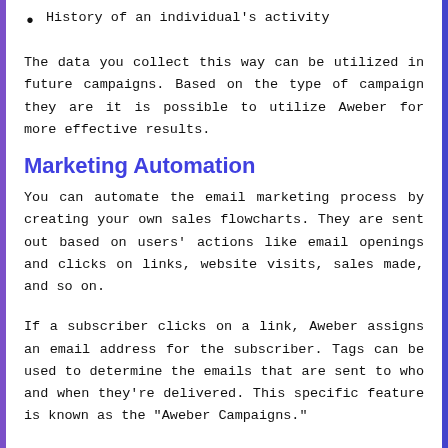History of an individual's activity
The data you collect this way can be utilized in future campaigns. Based on the type of campaign they are it is possible to utilize Aweber for more effective results.
Marketing Automation
You can automate the email marketing process by creating your own sales flowcharts. They are sent out based on users' actions like email openings and clicks on links, website visits, sales made, and so on.
If a subscriber clicks on a link, Aweber assigns an email address for the subscriber. Tags can be used to determine the emails that are sent to who and when they're delivered. This specific feature is known as the "Aweber Campaigns."